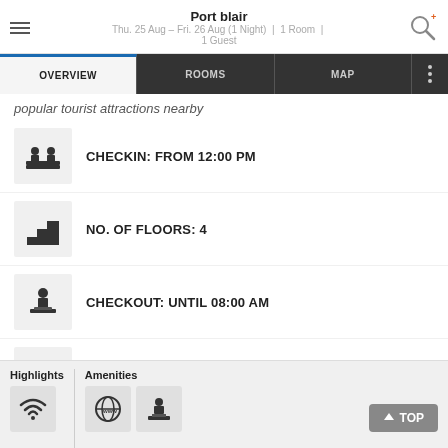Port blair
Thu. 25 Aug – Fri. 26 Aug (1 Night) | 1 Room | 1 Guest
popular tourist attractions nearby
CHECKIN: FROM 12:00 PM
NO. OF FLOORS: 4
CHECKOUT: UNTIL 08:00 AM
NO. OF ROOMS: 15
Highlights
Amenities